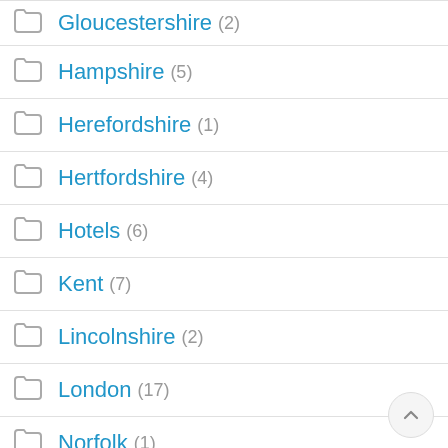Gloucestershire (2)
Hampshire (5)
Herefordshire (1)
Hertfordshire (4)
Hotels (6)
Kent (7)
Lincolnshire (2)
London (17)
Norfolk (1)
Northamptonshire (2)
Nottinghamshire (1)